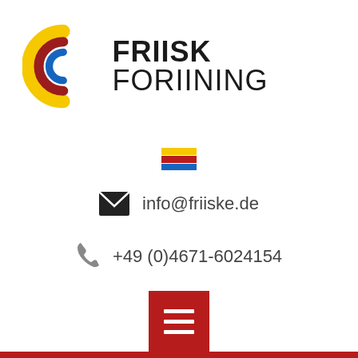[Figure (logo): Friisk Foriining logo with concentric C-shaped arcs in yellow, dark red, and blue, followed by bold text FRIISK FORIINING]
[Figure (other): Small decorative flag icon with yellow, red, and blue horizontal stripes]
info@friiske.de
+49 (0)4671-6024154